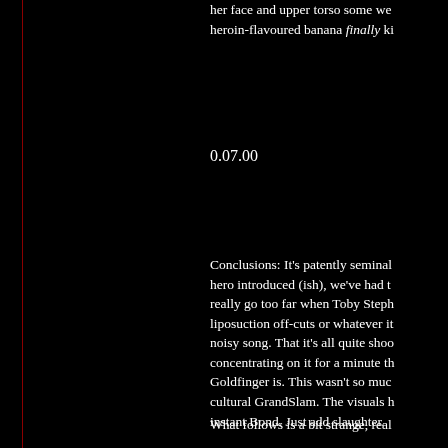her face and upper torso some we heroin-flavoured banana finally ki
0.07.00
Conclusions: It's patently seminal hero introduced (ish), we've had t really go too far when Toby Steph liposuction off-cuts or whatever it noisy song. That it's all quite shoo concentrating on it for a minute th Goldfinger is. This wasn't so muc cultural GrandSlam. The visuals h instant Bond. Just add slaughter.
What follows is a bit strange, real